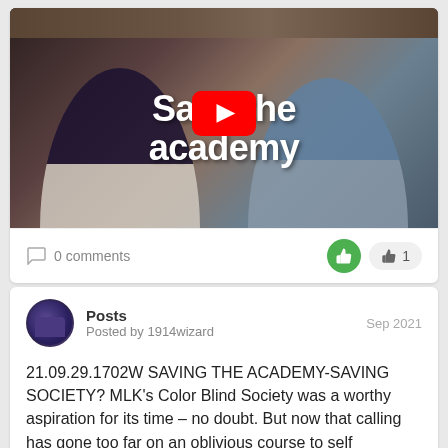[Figure (screenshot): YouTube video thumbnail showing two people sitting at a table with microphones in a home studio setting. Text overlay reads 'Save the academy' in bold white text. A YouTube play button (red circle with white triangle) is centered on the image.]
0 comments
1
Posts
Posted by 1914wizard
Sep 2021
21.09.29.1702W SAVING THE ACADEMY-SAVING SOCIETY? MLK's Color Blind Society was a worthy aspiration for its time – no doubt. But now that calling has gone too far on an oblivious course to self destruction. It really is time to ...